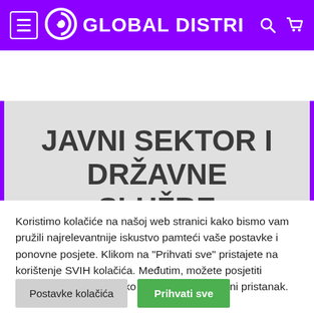GLOBAL DISTRI
JAVNI SEKTOR I DRŽAVNE SLUŽBE
Koristimo kolačiće na našoj web stranici kako bismo vam pružili najrelevantnije iskustvo pamteći vaše postavke i ponovne posjete. Klikom na "Prihvati sve" pristajete na korištenje SVIH kolačića. Međutim, možete posjetiti "Postavke kolačića" kako biste dali kontrolirani pristanak.
Postavke kolačića | Prihvati sve